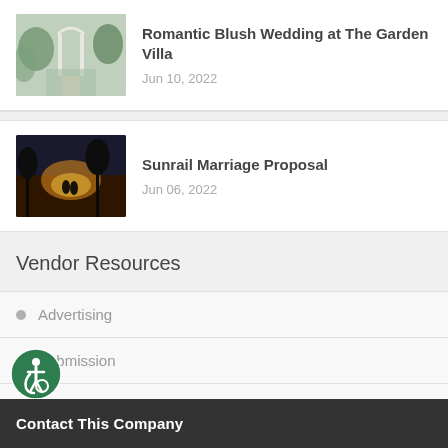Romantic Blush Wedding at The Garden Villa — Jun 10, 2022
Sunrail Marriage Proposal — Jun 06, 2022
Vendor Resources
Advertising
Submission
Add Your Venue
Contact This Company